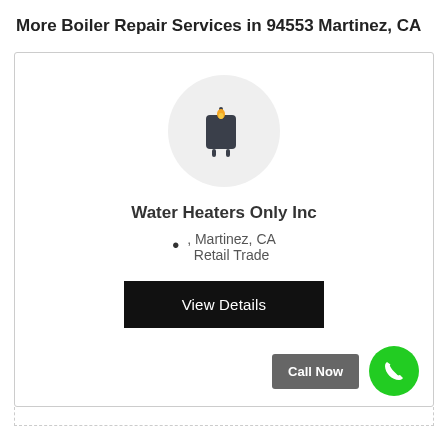More Boiler Repair Services in 94553 Martinez, CA
[Figure (logo): Water heater icon in a light gray circle — dark gray boiler/water heater with a yellow flame on top]
Water Heaters Only Inc
, Martinez, CA
Retail Trade
View Details
Call Now